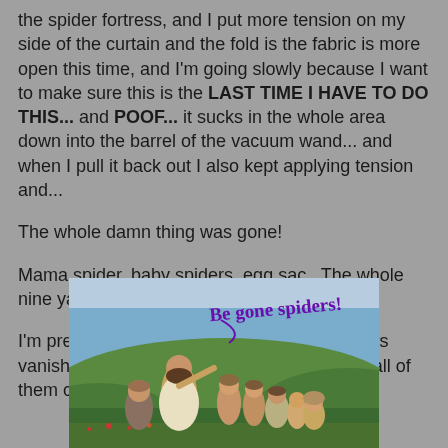the spider fortress, and I put more tension on my side of the curtain and the fold is the fabric is more open this time, and I'm going slowly because I want to make sure this is the LAST TIME I HAVE TO DO THIS... and POOF... it sucks in the whole area down into the barrel of the vacuum wand... and when I pull it back out I also kept applying tension and...
The whole damn thing was gone!
Mama spider, baby spiders, egg sac.  The whole nine yards!!!
I'm pretty sure Jesus himself made the spiders vanish because I absolutely don't know how all of them could be gone.
[Figure (illustration): A painting-style image of Jesus sitting on a hillside surrounded by followers, with handwritten purple text overlay reading 'Be gone spiders!']